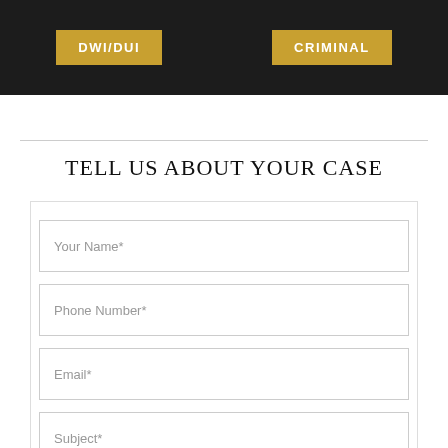[Figure (photo): Dark background photo strip showing law-related imagery with two gold badges reading DWI/DUI and CRIMINAL]
TELL US ABOUT YOUR CASE
Your Name*
Phone Number*
Email*
Subject*